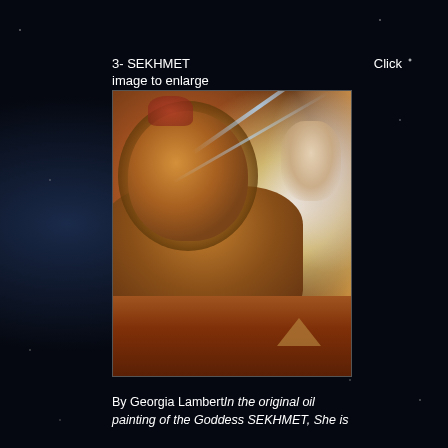3- SEKHMET                                        Click image to enlarge
[Figure (illustration): Oil painting of the Goddess Sekhmet depicted as a lioness-headed deity with Egyptian regalia, with a woman's face visible to the right, light beams crossing the image, pyramids and landscape in the background]
By Georgia Lambertin the original oil painting of the Goddess SEKHMET, She is